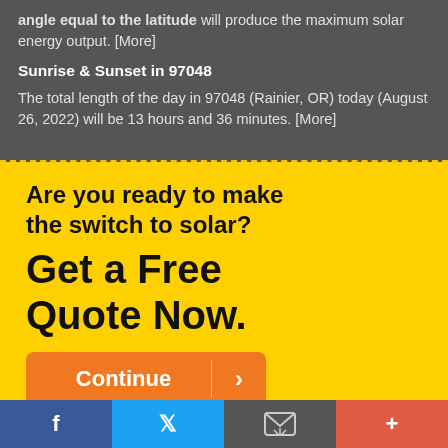angle equal to the latitude will produce the maximum solar energy output. [More]
Sunrise & Sunset in 97048
The total length of the day in 97048 (Rainier, OR) today (August 26, 2022) will be 13 hours and 36 minutes. [More]
Are you ready to make the switch to solar?
Get a Free Quote Now.
[Figure (other): Orange continue button with arrow]
[Figure (other): Social media footer bar with Facebook, Twitter, email, and plus icons]